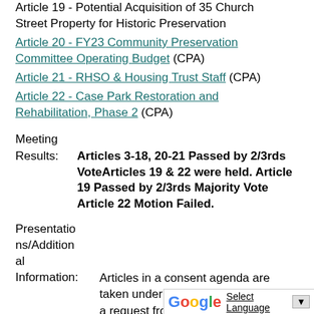Article 19 - Potential Acquisition of 35 Church Street Property for Historic Preservation
Article 20 - FY23 Community Preservation Committee Operating Budget (CPA)
Article 21 - RHSO & Housing Trust Staff (CPA)
Article 22 - Case Park Restoration and Rehabilitation, Phase 2 (CPA)
Meeting
Results:    Articles 3-18, 20-21 Passed by 2/3rds VoteArticles 19 & 22 were held. Article 19 Passed by 2/3rds Majority Vote Article 22 Motion Failed.
Presentations/Additional
Information: Articles in a consent agenda are taken under one vote unless there is a request from at least 10 voters to remove an article from the consent agenda it is placed